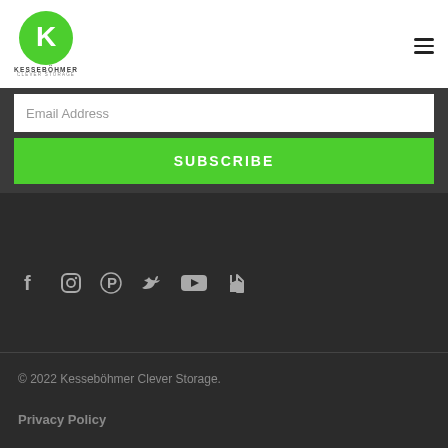[Figure (logo): Kesseböhmer Clever Storage logo: green circle with white K letter mark, brand name and tagline below]
Email Address
SUBSCRIBE
[Figure (infographic): Social media icons row: Facebook, Instagram, Pinterest, Twitter, YouTube, Houzz]
© 2022 Kesseböhmer Clever Storage.
Privacy Policy